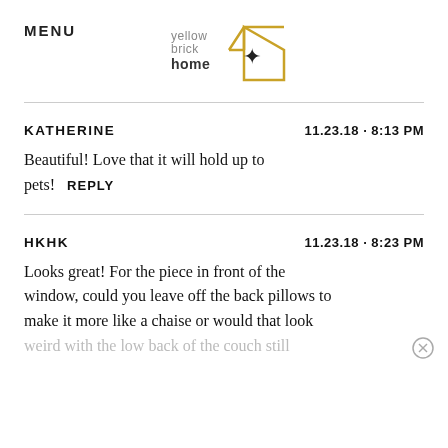MENU
[Figure (logo): Yellow Brick Home logo with house outline and star]
KATHERINE   11.23.18 · 8:13 PM
Beautiful! Love that it will hold up to pets!   REPLY
HKHK   11.23.18 · 8:23 PM
Looks great! For the piece in front of the window, could you leave off the back pillows to make it more like a chaise or would that look weird with the low back of the couch still